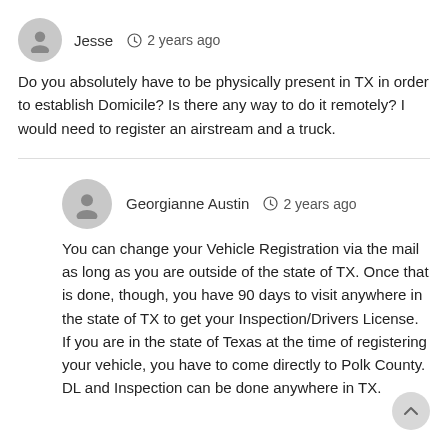Jesse  2 years ago
Do you absolutely have to be physically present in TX in order to establish Domicile? Is there any way to do it remotely? I would need to register an airstream and a truck.
Georgianne Austin  2 years ago
You can change your Vehicle Registration via the mail as long as you are outside of the state of TX. Once that is done, though, you have 90 days to visit anywhere in the state of TX to get your Inspection/Drivers License. If you are in the state of Texas at the time of registering your vehicle, you have to come directly to Polk County. DL and Inspection can be done anywhere in TX.